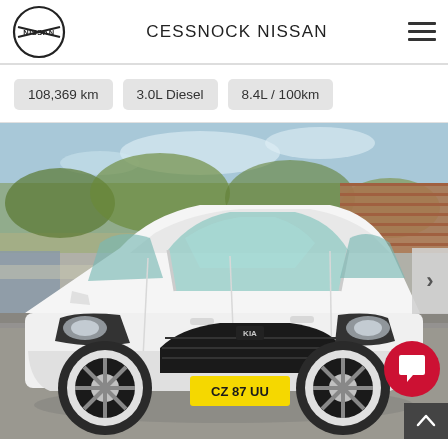[Figure (logo): Nissan circular logo with NISSAN text inside]
CESSNOCK NISSAN
108,369 km   3.0L Diesel   8.4L / 100km
[Figure (photo): White Kia Cerato sedan parked outdoors with NSW number plate CZ 87 UU, background shows trees, brick wall and concrete structures]